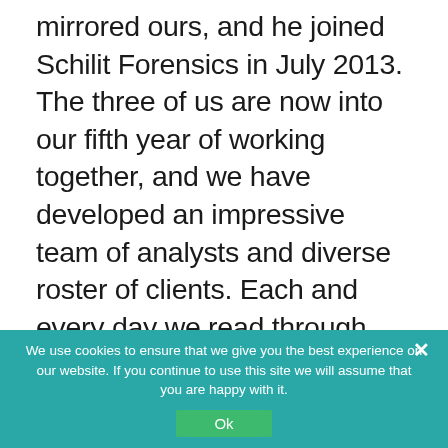mirrored ours, and he joined Schilit Forensics in July 2013. The three of us are now into our fifth year of working together, and we have developed an impressive team of analysts and diverse roster of clients. Each and every day we read through the fine print of regulatory filings, investor presentations, and other documents to identify signs of business problems before they surface. In doing so we are able to help our clients make better investment decisions.
We use cookies to ensure that we give you the best experience on our website. If you continue to use this site we will assume that you are happy with it.
Ok